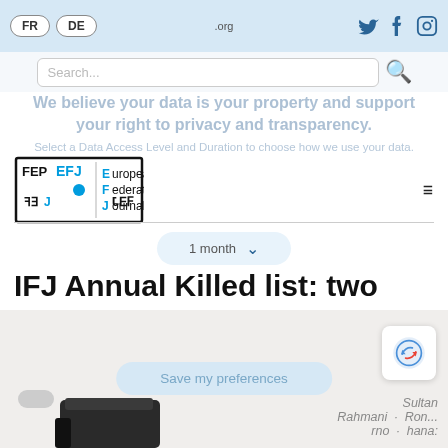FR | DE | .org | (social icons: Twitter, Facebook, Instagram)
Search...
We believe your data is your property and support your right to privacy and transparency.
Select a Data Access Level and Duration to choose how we use your data.
[Figure (logo): EFJ / FEP logo with European Federation of Journalists wordmark]
IFJ Annual Killed list: two killed journalists in Europe in 2019
1 month (dropdown)
Save my preferences
Rahmani · Sultan · rno · Ron... · hana:
[Figure (photo): Partial image of a firearm/rifle barrel visible at bottom right and bottom left of page]